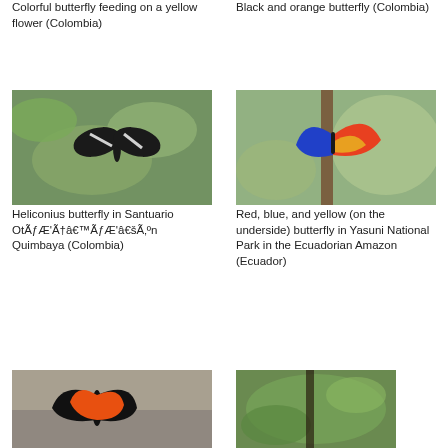Colorful butterfly feeding on a yellow flower (Colombia)
Black and orange butterfly (Colombia)
[Figure (photo): Heliconius butterfly perched on a leaf in a tropical forest]
Heliconius butterfly in Santuario OtÃƒÆ'Ã†â€™ÃƒÆ'â€šÃ‚ºn Quimbaya (Colombia)
[Figure (photo): Red, blue, and yellow butterfly on a tree trunk in tropical forest]
Red, blue, and yellow (on the underside) butterfly in Yasuni National Park in the Ecuadorian Amazon (Ecuador)
[Figure (photo): Black and orange butterfly on ground]
[Figure (photo): Butterfly or insect among green leaves]